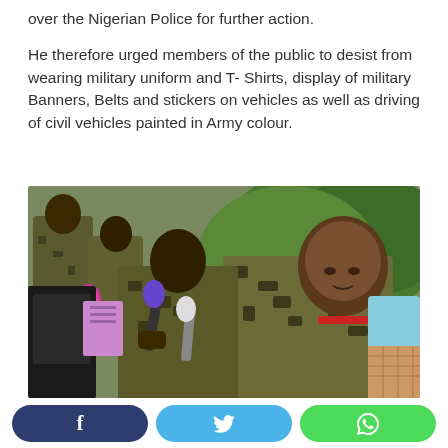over the Nigerian Police for further action.
He therefore urged members of the public to desist from wearing military uniform and T- Shirts, display of military Banners, Belts and stickers on vehicles as well as driving of civil vehicles painted in Army colour.
[Figure (photo): Nigerian soldiers in camouflage uniforms being interviewed by journalists holding microphones and recording devices, outdoors near green shrubbery.]
f  y  WhatsApp share buttons